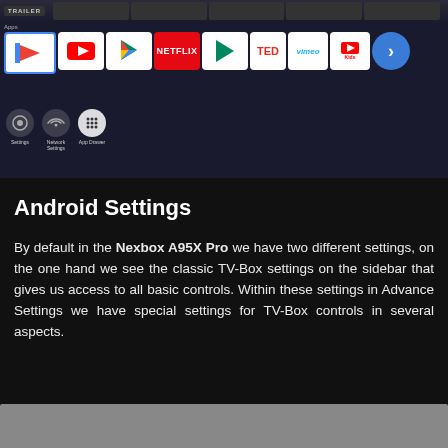[Figure (screenshot): Android TV home screen showing Apps row with Google Play Movies & TV, YouTube, Google Play Store, Netflix, Google Play Games, TED, Vimeo, Kids icons, and bottom row with Settings, Network Settings, App Drawer icons]
Android Settings
By default in the Nexbox A95X Pro we have two different settings, on the one hand we see the classic TV-Box settings on the sidebar that gives us access to all basic controls. Within these settings in Advance Settings we have special settings for TV-Box controls in several aspects.
[Figure (screenshot): Bottom portion of another Android TV screenshot (partially visible)]